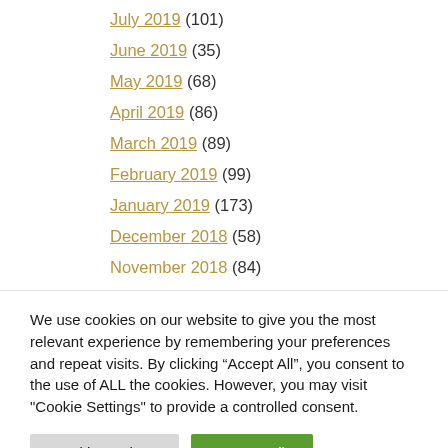July 2019 (101)
June 2019 (35)
May 2019 (68)
April 2019 (86)
March 2019 (89)
February 2019 (99)
January 2019 (173)
December 2018 (58)
November 2018 (84)
We use cookies on our website to give you the most relevant experience by remembering your preferences and repeat visits. By clicking “Accept All”, you consent to the use of ALL the cookies. However, you may visit "Cookie Settings" to provide a controlled consent.
Cookie Settings | Accept All